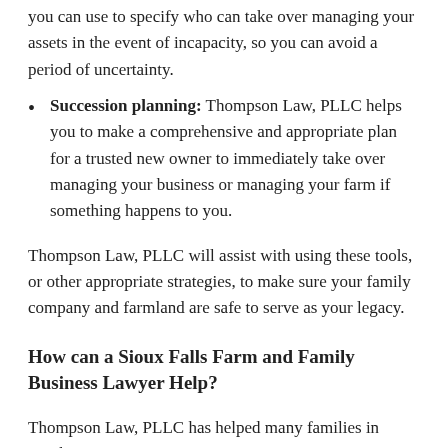you can use to specify who can take over managing your assets in the event of incapacity, so you can avoid a period of uncertainty.
Succession planning: Thompson Law, PLLC helps you to make a comprehensive and appropriate plan for a trusted new owner to immediately take over managing your business or managing your farm if something happens to you.
Thompson Law, PLLC will assist with using these tools, or other appropriate strategies, to make sure your family company and farmland are safe to serve as your legacy.
How can a Sioux Falls Farm and Family Business Lawyer Help?
Thompson Law, PLLC has helped many families in South